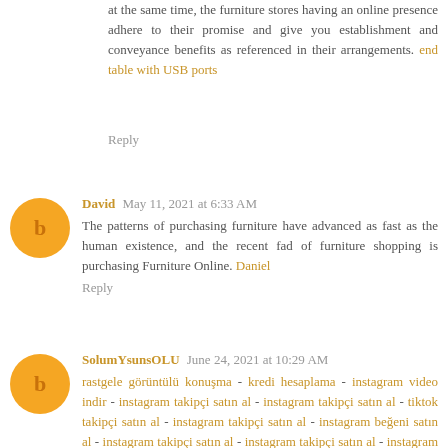at the same time, the furniture stores having an online presence adhere to their promise and give you establishment and conveyance benefits as referenced in their arrangements. end table with USB ports
Reply
David  May 11, 2021 at 6:33 AM
The patterns of purchasing furniture have advanced as fast as the human existence, and the recent fad of furniture shopping is purchasing Furniture Online. Daniel
Reply
SolumYsunsOLU  June 24, 2021 at 10:29 AM
rastgele görüntülü konuşma - kredi hesaplama - instagram video indir - instagram takipçi satın al - instagram takipçi satın al - tiktok takipçi satın al - instagram takipçi satın al - instagram beğeni satın al - instagram takipçi satın al - instagram takipçi satın al - instagram takipçi satın al - instagram takipçi satın al - binance güvenilir mi - binance güvenilir mi - binance güvenilir mi - binance güvenilir mi - instagram beğeni satın al - instagram beğeni satın al - polen filtresi - google haritalara yer ekleme - btcturk güvenilir mi - binance hesap açma - kuşadası kiralık villa - tiktok izlenme satın al - instagram takipçi satın al - sms onay - paribu sahibi - binance sahibi - btcturk sahibi - paribu ne zaman kuruldu - binance ne zaman kuruldu - btcturk ne zaman kuruldu -